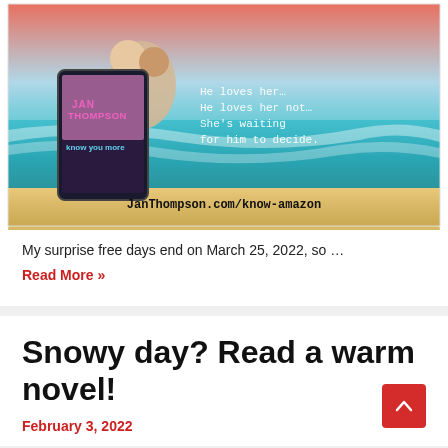[Figure (illustration): Book promotional image for 'Know You More' by Jan Thompson. Beach background with a couple, a tablet showing the book cover, text reading 'He loves her… He loves her not… She's waiting for him to decide.' and 'JanThompson.com/know-amazon']
My surprise free days end on March 25, 2022, so …
Read More »
Snowy day? Read a warm novel!
February 3, 2022